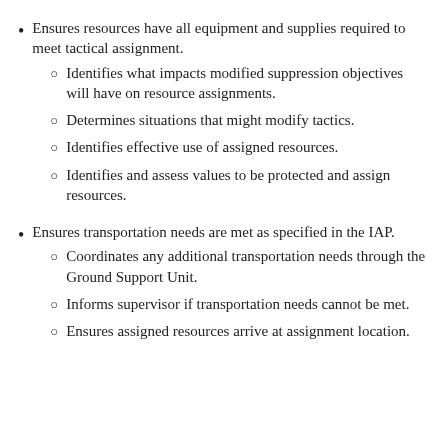Ensures resources have all equipment and supplies required to meet tactical assignment.
Identifies what impacts modified suppression objectives will have on resource assignments.
Determines situations that might modify tactics.
Identifies effective use of assigned resources.
Identifies and assess values to be protected and assign resources.
Ensures transportation needs are met as specified in the IAP.
Coordinates any additional transportation needs through the Ground Support Unit.
Informs supervisor if transportation needs cannot be met.
Ensures assigned resources arrive at assignment location.